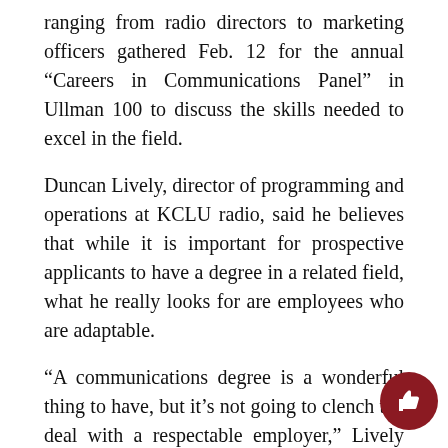ranging from radio directors to marketing officers gathered Feb. 12 for the annual “Careers in Communications Panel” in Ullman 100 to discuss the skills needed to excel in the field.
Duncan Lively, director of programming and operations at KCLU radio, said he believes that while it is important for prospective applicants to have a degree in a related field, what he really looks for are employees who are adaptable.
“A communications degree is a wonderful thing to have, but it’s not going to clench the deal with a respectable employer,” Lively said.
Lively said he also looks for applicants that can create content, report and have some sort of specialization with science, business, math or arts.